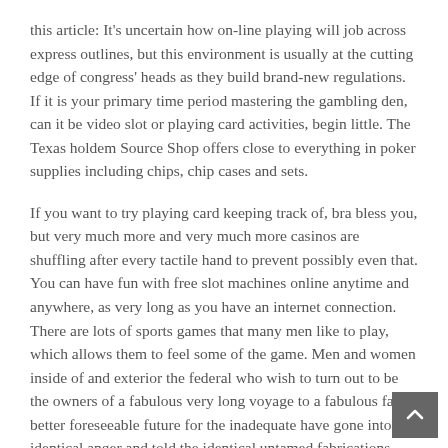this article: It’s uncertain how on-line playing will job across express outlines, but this environment is usually at the cutting edge of congress’ heads as they build brand-new regulations. If it is your primary time period mastering the gambling den, can it be video slot or playing card activities, begin little. The Texas holdem Source Shop offers close to everything in poker supplies including chips, chip cases and sets.
If you want to try playing card keeping track of, bra bless you, but very much more and very much more casinos are shuffling after every tactile hand to prevent possibly even that. You can have fun with free slot machines online anytime and anywhere, as very long as you have an internet connection. There are lots of sports games that many men like to play, which allows them to feel some of the game. Men and women inside of and exterior the federal who wish to turn out to be the owners of a fabulous very long voyage to a fabulous far better foreseeable future for the inadequate have gone into the identical anger and told the identical untamed fabrications about individuals when we have no more than